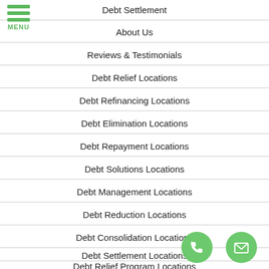Debt Settlement
About Us
Reviews & Testimonials
Debt Relief Locations
Debt Refinancing Locations
Debt Elimination Locations
Debt Repayment Locations
Debt Solutions Locations
Debt Management Locations
Debt Reduction Locations
Debt Consolidation Locations
Debt Settlement Locations
Debt Relief Program Locations